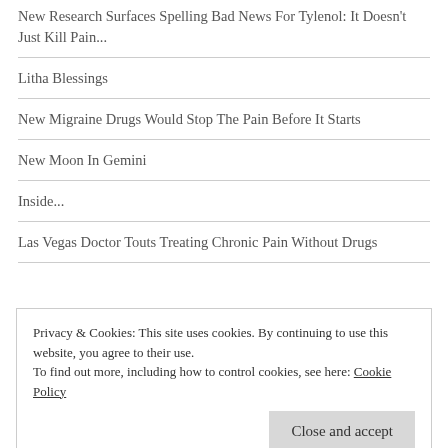New Research Surfaces Spelling Bad News For Tylenol: It Doesn't Just Kill Pain...
Litha Blessings
New Migraine Drugs Would Stop The Pain Before It Starts
New Moon In Gemini
Inside...
Las Vegas Doctor Touts Treating Chronic Pain Without Drugs
Privacy & Cookies: This site uses cookies. By continuing to use this website, you agree to their use. To find out more, including how to control cookies, see here: Cookie Policy
elevated IgG4 levels may indicate a more 'inflammatory'